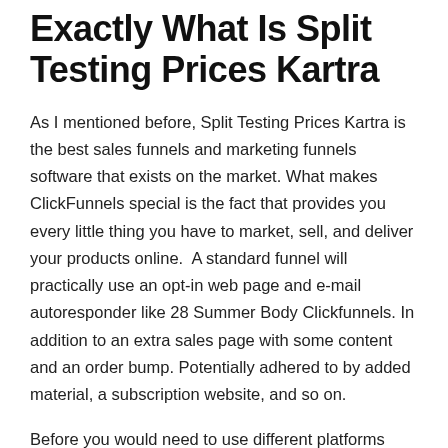Exactly What Is Split Testing Prices Kartra
As I mentioned before, Split Testing Prices Kartra is the best sales funnels and marketing funnels software that exists on the market. What makes ClickFunnels special is the fact that provides you every little thing you have to market, sell, and deliver your products online.  A standard funnel will practically use an opt-in web page and e-mail autoresponder like 28 Summer Body Clickfunnels. In addition to an extra sales page with some content and an order bump. Potentially adhered to by added material, a subscription website, and so on.
Before you would need to use different platforms